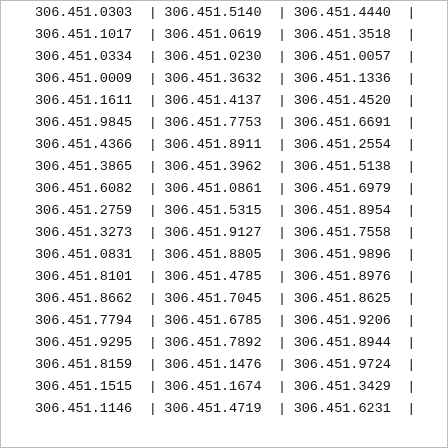| Col1 | Col2 | Col3 |
| --- | --- | --- |
| 306.451.0303 | 306.451.5140 | 306.451.4440 |
| 306.451.1017 | 306.451.0619 | 306.451.3518 |
| 306.451.0334 | 306.451.0230 | 306.451.0057 |
| 306.451.0009 | 306.451.3632 | 306.451.1336 |
| 306.451.1611 | 306.451.4137 | 306.451.4520 |
| 306.451.9845 | 306.451.7753 | 306.451.6691 |
| 306.451.4366 | 306.451.8911 | 306.451.2554 |
| 306.451.3865 | 306.451.3962 | 306.451.5138 |
| 306.451.6082 | 306.451.0861 | 306.451.6979 |
| 306.451.2759 | 306.451.5315 | 306.451.8954 |
| 306.451.3273 | 306.451.9127 | 306.451.7558 |
| 306.451.0831 | 306.451.8805 | 306.451.9896 |
| 306.451.8101 | 306.451.4785 | 306.451.8976 |
| 306.451.8662 | 306.451.7045 | 306.451.8625 |
| 306.451.7794 | 306.451.6785 | 306.451.9206 |
| 306.451.9295 | 306.451.7892 | 306.451.8944 |
| 306.451.8159 | 306.451.1476 | 306.451.9724 |
| 306.451.1515 | 306.451.1674 | 306.451.3429 |
| 306.451.1146 | 306.451.4719 | 306.451.6231 |